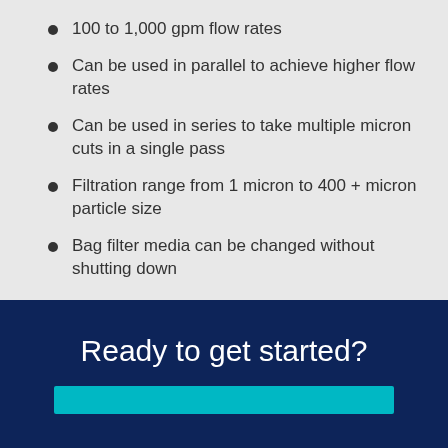100 to 1,000 gpm flow rates
Can be used in parallel to achieve higher flow rates
Can be used in series to take multiple micron cuts in a single pass
Filtration range from 1 micron to 400 + micron particle size
Bag filter media can be changed without shutting down
Ready to get started?